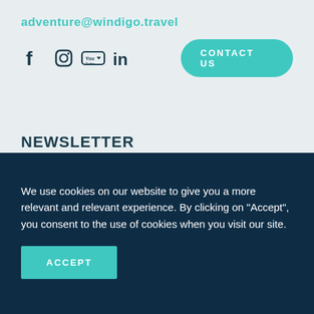adventure@windigo.travel
[Figure (infographic): Social media icons: Facebook, Instagram, YouTube, LinkedIn, and a teal CONTACT US button]
NEWSLETTER
First name
Last name
We use cookies on our website to give you a more relevant and relevant experience. By clicking on "Accept", you consent to the use of cookies when you visit our site.
ACCEPT